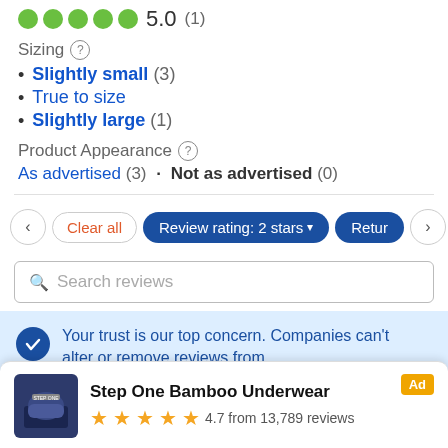5.0 (1)
Sizing ?
Slightly small (3)
True to size
Slightly large (1)
Product Appearance ?
As advertised (3) · Not as advertised (0)
Clear all  Review rating: 2 stars ▾  Return
Search reviews
Your trust is our top concern. Companies can't alter or remove reviews from
Step One Bamboo Underwear  Ad  4.7 from 13,789 reviews